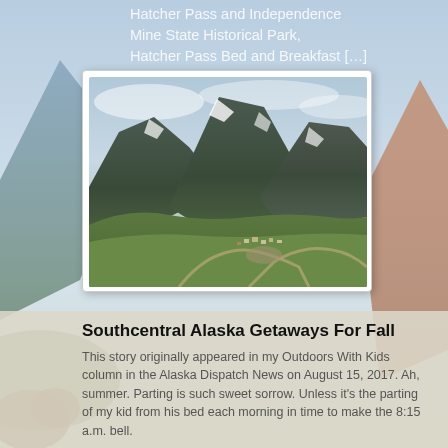Hatcher Pass and Independence Mine State Historical Park, Hatcher Pass Bed and Breakfast […]
[Figure (photo): Aerial view of Hatcher Pass mountain landscape in Alaska, showing steep rocky peaks with snow patches, green alpine tundra slopes, and a small settlement with buildings and a parking lot connected by winding roads in the valley below. Overcast sky.]
Southcentral Alaska Getaways For Fall
This story originally appeared in my Outdoors With Kids column in the Alaska Dispatch News on August 15, 2017.  Ah, summer. Parting is such sweet sorrow. Unless it's the parting of my kid from his bed each morning in time to make the 8:15 a.m. bell.